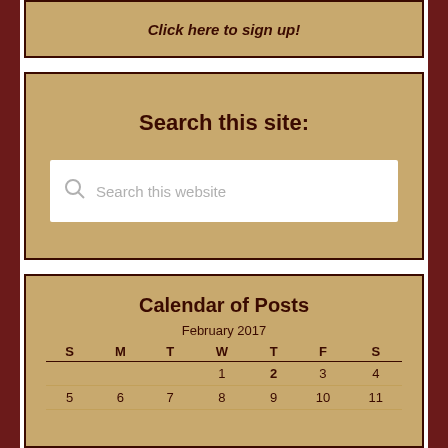Click here to sign up!
Search this site:
Search this website
Calendar of Posts
| S | M | T | W | T | F | S |
| --- | --- | --- | --- | --- | --- | --- |
|  |  |  | 1 | 2 | 3 | 4 |
| 5 | 6 | 7 | 8 | 9 | 10 | 11 |